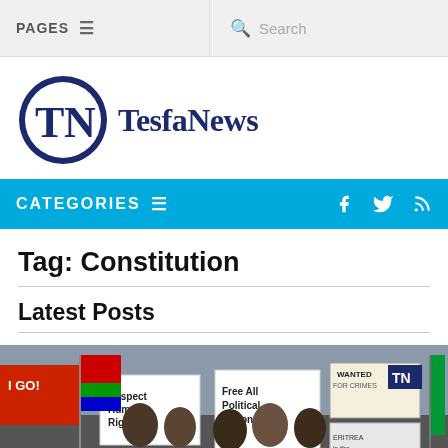PAGES  Search
[Figure (logo): TesfaNews logo: circular TN emblem in dark navy with 'TesfaNews' text in bold serif navy font]
CATEGORIES
Tag: Constitution
Latest Posts
[Figure (photo): Protest scene with people holding signs reading 'Respect Human Rights', 'Free All Political Prisoners', 'WANTED FOR CRIMES', 'ERITREA is the North Korea of Africa', and 'GO!' with flags and crowd]